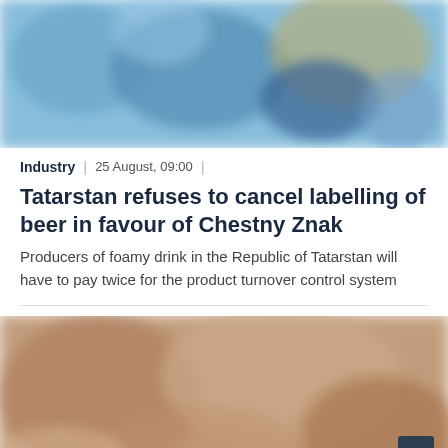[Figure (photo): Blurred blue-toned image of beer bottles or packaging, top article image]
Industry | 25 August, 09:00
Tatarstan refuses to cancel labelling of beer in favour of Chestny Znak
Producers of foamy drink in the Republic of Tatarstan will have to pay twice for the product turnover control system
[Figure (photo): Blurred warm-toned image of store shelves with products, bottom article image]